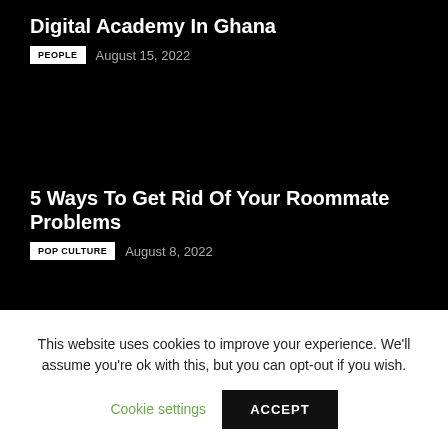Digital Academy In Ghana
PEOPLE   August 15, 2022
5 Ways To Get Rid Of Your Roommate Problems
POP CULTURE   August 8, 2022
This website uses cookies to improve your experience. We'll assume you're ok with this, but you can opt-out if you wish.
Cookie settings
ACCEPT